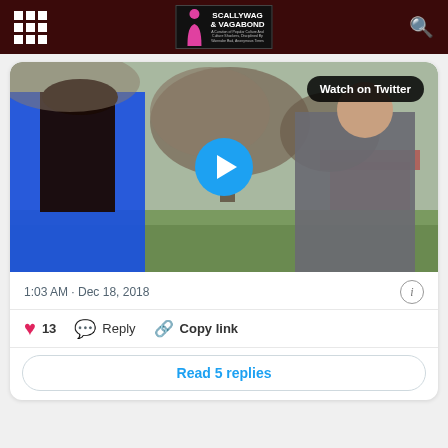Scallywag & Vagabond
[Figure (screenshot): Embedded Twitter/X video thumbnail showing two people outdoors: a woman in blue jacket on the left and a man in gray jacket on the right, with trees in background. A 'Watch on Twitter' badge appears top-right and a blue play button in the center.]
1:03 AM · Dec 18, 2018
13  Reply  Copy link
Read 5 replies